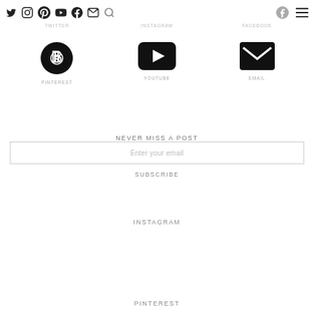Twitter Instagram Pinterest YouTube Facebook Email Search Facebook Menu
TWITTER
INSTAGRAM
FACEBOOK
[Figure (infographic): Pinterest icon (circle with P) with label PINTEREST below]
[Figure (infographic): YouTube icon (rounded rectangle with play triangle) with label YOUTUBE below]
[Figure (infographic): Email icon (envelope) with label EMAIL below]
NEVER MISS A POST
Enter your email
SUBSCRIBE
INSTAGRAM
PINTEREST